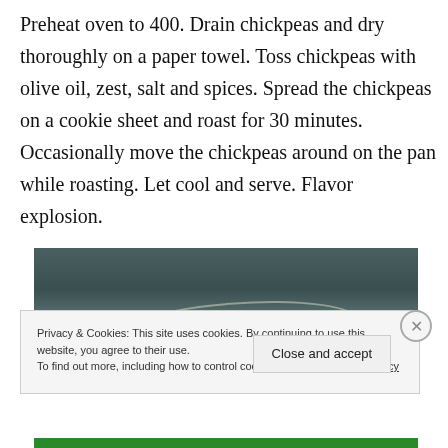Preheat oven to 400. Drain chickpeas and dry thoroughly on a paper towel. Toss chickpeas with olive oil, zest, salt and spices. Spread the chickpeas on a cookie sheet and roast for 30 minutes. Occasionally move the chickpeas around on the pan while roasting. Let cool and serve. Flavor explosion.
[Figure (photo): Partial photo of what appears to be a baking sheet or cooking surface, dark teal/grey tones with a circular glass or bowl outline visible]
Privacy & Cookies: This site uses cookies. By continuing to use this website, you agree to their use.
To find out more, including how to control cookies, see here: Cookie Policy